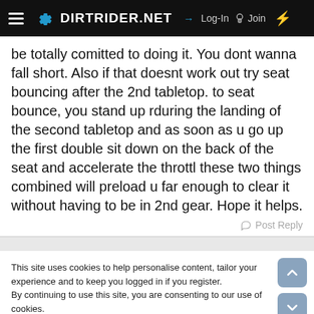DIRTRIDER.NET   → Log-In   Join
be totally comitted to doing it. You dont wanna fall short. Also if that doesnt work out try seat bouncing after the 2nd tabletop. to seat bounce, you stand up rduring the landing of the second tabletop and as soon as u go up the first double sit down on the back of the seat and accelerate the throttl these two things combined will preload u far enough to clear it without having to be in 2nd gear. Hope it helps.
Post Reply
This site uses cookies to help personalise content, tailor your experience and to keep you logged in if you register.
By continuing to use this site, you are consenting to our use of cookies.
✓ Accept   Learn more...